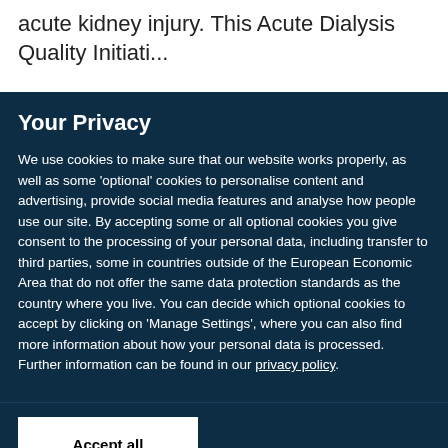acute kidney injury. This Acute Dialysis Quality Initiati...
Your Privacy
We use cookies to make sure that our website works properly, as well as some 'optional' cookies to personalise content and advertising, provide social media features and analyse how people use our site. By accepting some or all optional cookies you give consent to the processing of your personal data, including transfer to third parties, some in countries outside of the European Economic Area that do not offer the same data protection standards as the country where you live. You can decide which optional cookies to accept by clicking on 'Manage Settings', where you can also find more information about how your personal data is processed. Further information can be found in our privacy policy.
Accept all cookies
Manage preferences